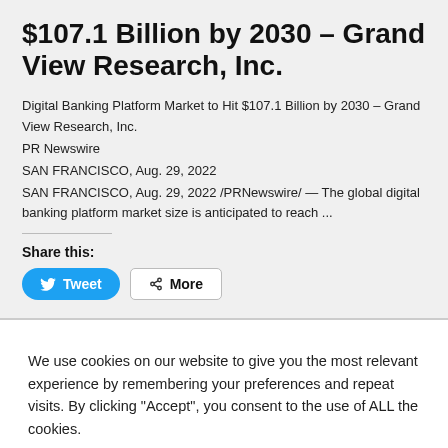$107.1 Billion by 2030 – Grand View Research, Inc.
Digital Banking Platform Market to Hit $107.1 Billion by 2030 – Grand View Research, Inc.
PR Newswire
SAN FRANCISCO, Aug. 29, 2022
SAN FRANCISCO, Aug. 29, 2022 /PRNewswire/ — The global digital banking platform market size is anticipated to reach ...
Share this:
[Figure (other): Tweet and More share buttons]
We use cookies on our website to give you the most relevant experience by remembering your preferences and repeat visits. By clicking "Accept", you consent to the use of ALL the cookies.
Cookie settings | ACCEPT